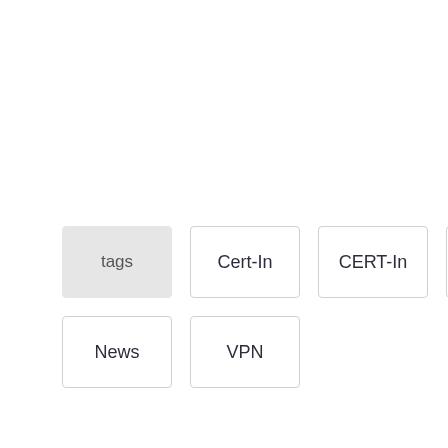tags | Cert-In | CERT-In | News | News | VPN